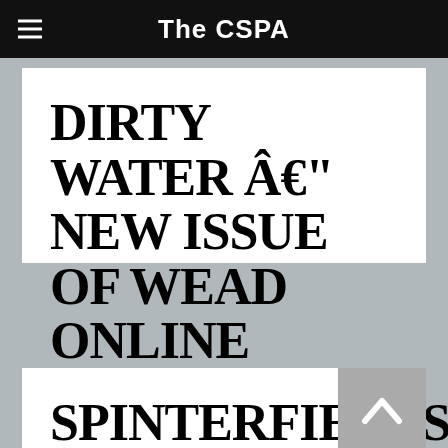The CSPA
DIRTY WATER Â€" NEW ISSUE OF WEAD ONLINE MAGAZINE
SPINTERFIELDS: